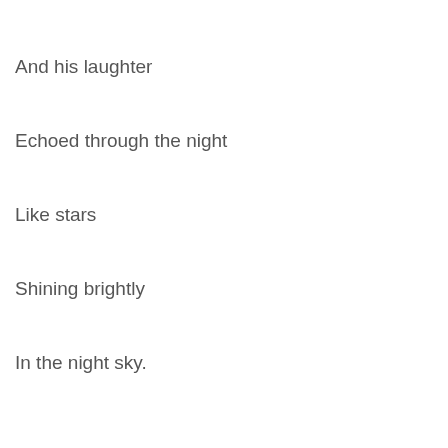And his laughter
Echoed through the night
Like stars
Shining brightly
In the night sky.